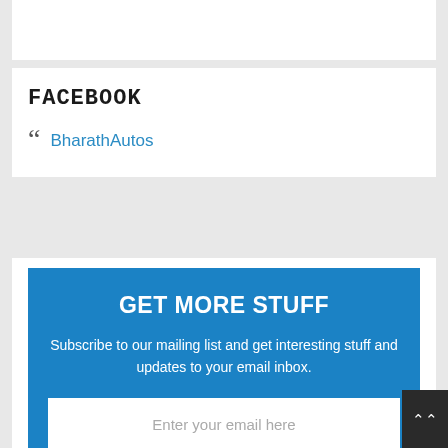FACEBOOK
BharathAutos
GET MORE STUFF
Subscribe to our mailing list and get interesting stuff and updates to your email inbox.
Enter your email here